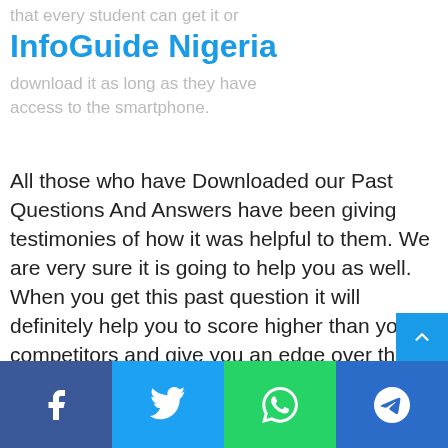that every student can get it or download it as long as they have access to the smartphone.
InfoGuide Nigeria
All those who have Downloaded our Past Questions And Answers have been giving testimonies of how it was helpful to them. We are very sure it is going to help you as well. When you get this past question it will definitely help you to score higher than your competitors and give you an edge over them.
With the proper use of our original
Facebook Twitter WhatsApp Telegram